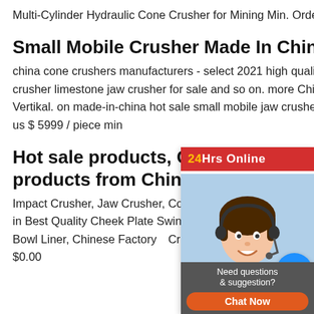Multi-Cylinder Hydraulic Cone Crusher for Mining Min. Order: 1 Set ...
Small Mobile Crusher Made In China Sale
china cone crushers manufacturers - select 2021 high quality cone ac motor mobile small stone crusher limestone jaw crusher for sale and so on. more China Hot Sale Jaw Crusher Crusher Vertikal. on made-in-china hot sale small mobile jaw crusher, small portable crushers. fob price: us $ 5999 / piece min...
Hot sale products, Crusher wear products from China ...
Impact Crusher, Jaw Crusher, Cone Crusher / supplier in China, offering Shanbao Brand Plate in Best Quality Cheek Plate Swing Liner, Cone Crusher Wearing Parts Concave Cone Liner Bowl Liner, Chinese Factory Crusher Concave Mantle Replacement Part $0.00
[Figure (other): Live chat widget with a customer service agent photo, '24Hrs Online' red banner, chat bubble icon, 'Need questions & suggestion?' text, and 'Chat Now' orange button]